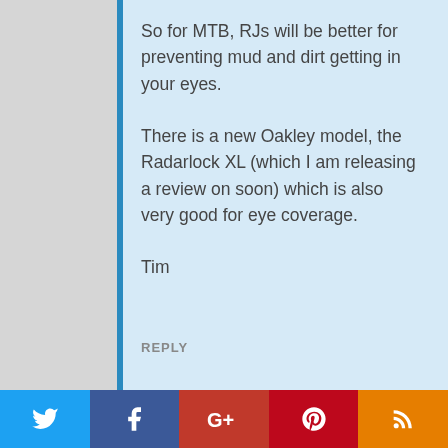So for MTB, RJs will be better for preventing mud and dirt getting in your eyes.

There is a new Oakley model, the Radarlock XL (which I am releasing a review on soon) which is also very good for eye coverage.

Tim
REPLY
DARCYCLE says: